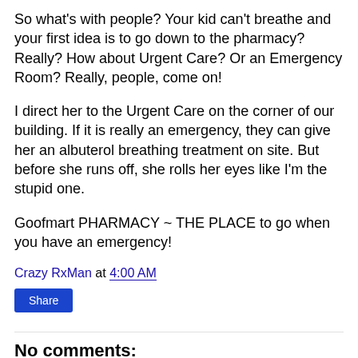So what's with people? Your kid can't breathe and your first idea is to go down to the pharmacy? Really? How about Urgent Care? Or an Emergency Room? Really, people, come on!
I direct her to the Urgent Care on the corner of our building. If it is really an emergency, they can give her an albuterol breathing treatment on site. But before she runs off, she rolls her eyes like I'm the stupid one.
Goofmart PHARMACY ~ THE PLACE to go when you have an emergency!
Crazy RxMan at 4:00 AM
Share
No comments: